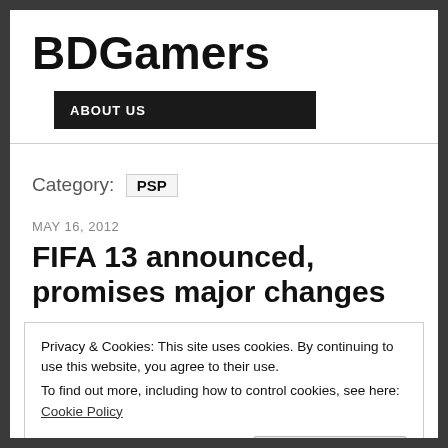BDGamers
ABOUT US
Category: PSP
MAY 16, 2012
FIFA 13 announced, promises major changes
Privacy & Cookies: This site uses cookies. By continuing to use this website, you agree to their use.
To find out more, including how to control cookies, see here: Cookie Policy
"revolutionary set of game-